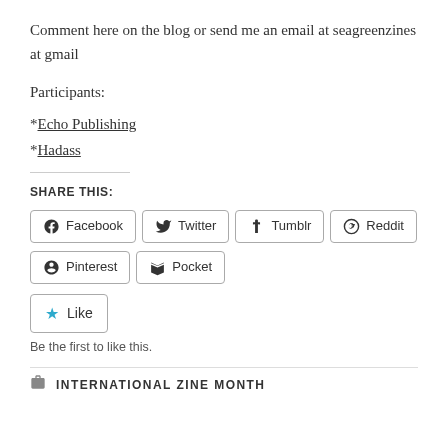Comment here on the blog or send me an email at seagreenzines at gmail
Participants:
*Echo Publishing
*Hadass
SHARE THIS:
Facebook  Twitter  Tumblr  Reddit  Pinterest  Pocket
Like
Be the first to like this.
INTERNATIONAL ZINE MONTH